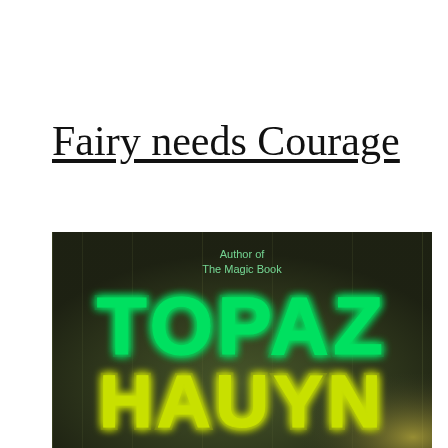Fairy needs Courage
[Figure (illustration): Book cover with dark olive/brown background showing glowing neon green and yellow text. At top center in small mint green text: 'Author of The Magic Book'. Below in large glowing green neon letters: 'TOPAZ'. Below that in large glowing yellow-green neon letters: 'HAUYN'.]